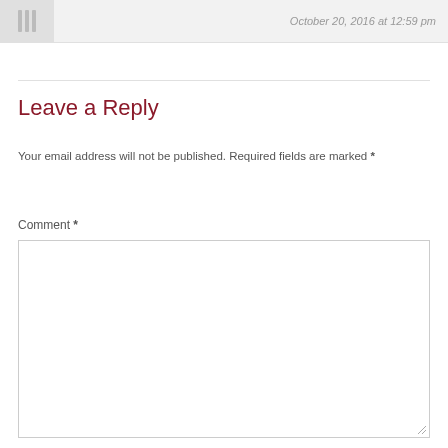October 20, 2016 at 12:59 pm
Leave a Reply
Your email address will not be published. Required fields are marked *
Comment *